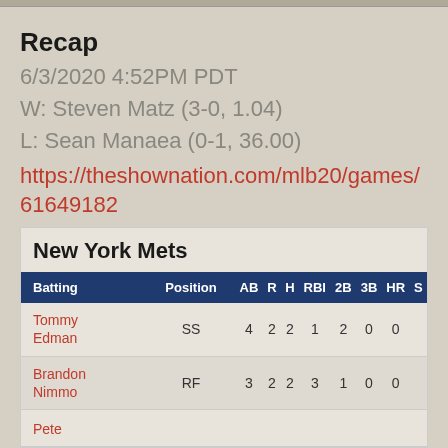Recap
6/3/2020 4:52PM PDT
W: Steven Matz (3-0, 1.04)
L: Sean Manaea (0-1, 36.00)
https://theshownation.com/mlb20/games/61649182
| Batting | Position | AB | R | H | RBI | 2B | 3B | HR | S |
| --- | --- | --- | --- | --- | --- | --- | --- | --- | --- |
| Tommy Edman | SS | 4 | 2 | 2 | 1 | 2 | 0 | 0 |  |
| Brandon Nimmo | RF | 3 | 2 | 2 | 3 | 1 | 0 | 0 |  |
| Pete |  |  |  |  |  |  |  |  |  |